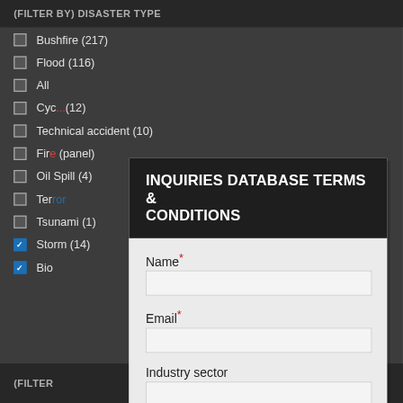(FILTER BY) DISASTER TYPE
Bushfire (217)
Flood (116)
All ...
Cyclone ... (12)
Technical accident (10)
Fire (panel)
Oil Spill (4)
Terrorism ...
Tsunami (1)
Storm (14)
Biological ...
INQUIRIES DATABASE TERMS & CONDITIONS
Name*
Email*
Industry sector
Reason for access
(FILTER ...